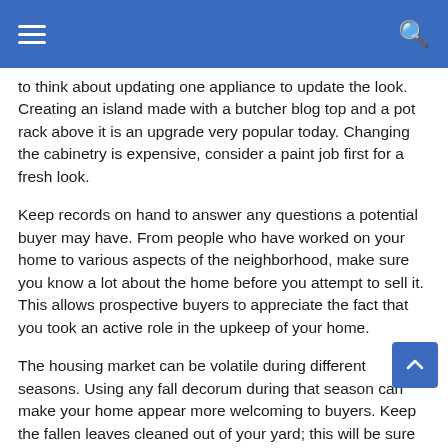☰  🔍
to think about updating one appliance to update the look. Creating an island made with a butcher blog top and a pot rack above it is an upgrade very popular today. Changing the cabinetry is expensive, consider a paint job first for a fresh look.
Keep records on hand to answer any questions a potential buyer may have. From people who have worked on your home to various aspects of the neighborhood, make sure you know a lot about the home before you attempt to sell it. This allows prospective buyers to appreciate the fact that you took an active role in the upkeep of your home.
The housing market can be volatile during different seasons. Using any fall decorum during that season can make your home appear more welcoming to buyers. Keep the fallen leaves cleaned out of your yard; this will be sure to help the late season buyers feel inclined to make an offer.